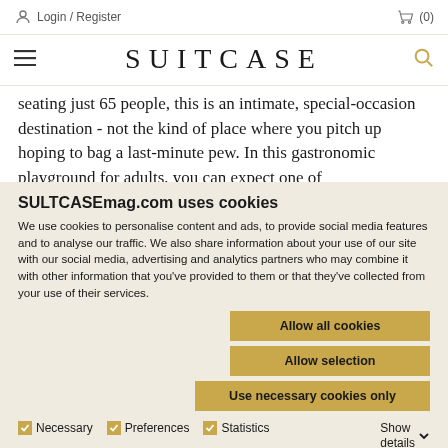Login / Register   (0)
SUITCASE
seating just 65 people, this is an intimate, special-occasion destination - not the kind of place where you pitch up hoping to bag a last-minute pew. In this gastronomic playground for adults, you can expect one of
SULTCASEmag.com uses cookies
We use cookies to personalise content and ads, to provide social media features and to analyse our traffic. We also share information about your use of our site with our social media, advertising and analytics partners who may combine it with other information that you've provided to them or that they've collected from your use of their services.
Allow all cookies
Allow selection
Use necessary cookies only
Necessary   Preferences   Statistics   Marketing   Show details